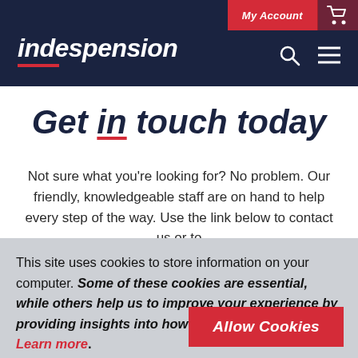[Figure (screenshot): Indespension website navigation bar with dark navy background, logo on left, My Account and cart buttons top right, search and hamburger menu icons]
Get in touch today
Not sure what you're looking for? No problem. Our friendly, knowledgeable staff are on hand to help every step of the way. Use the link below to contact us or to find your nearest branch and we will help you find
This site uses cookies to store information on your computer. Some of these cookies are essential, while others help us to improve your experience by providing insights into how the site is being used. Learn more.